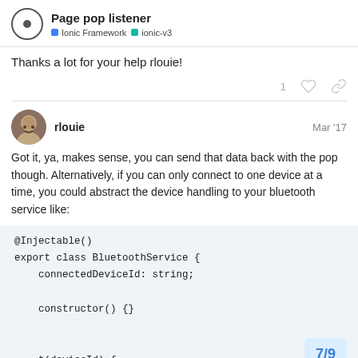Page pop listener | Ionic Framework | ionic-v3
Thanks a lot for your help rlouie!
rlouie  Mar '17
Got it, ya, makes sense, you can send that data back with the pop though. Alternatively, if you can only connect to one device at a time, you could abstract the device handling to your bluetooth service like:
@Injectable()
export class BluetoothService {
    connectedDeviceId: string;

    constructor() {}

    t(deviceId) {